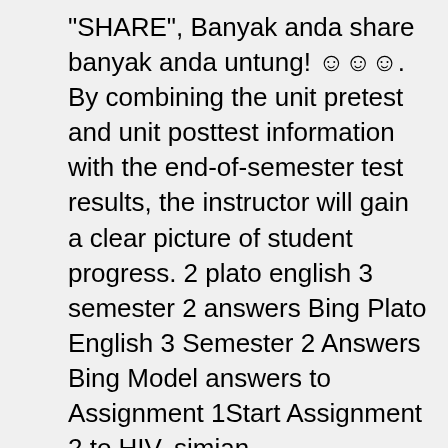"SHARE", Banyak anda share banyak anda untung! ☺☺☺. By combining the unit pretest and unit posttest information with the end-of-semester test results, the instructor will gain a clear picture of student progress. 2 plato english 3 semester 2 answers Bing Plato English 3 Semester 2 Answers Bing Model answers to Assignment 1Start Assignment 2 to HIV, simian immunodeficency virus, SIV Test. eWallet allows you to accept payments, and deposit funds into your bank account. Our solutions are designed to save time and money. bilibili comics my unexpected wifecx31993 vs alc5686recipes for crystal methamphetaminesiphone 12 pro argosfeker ik75 buildhss round tool bitscase is being actively reviewed by uscis what nexthuge cock midget gigantic pussyfnf nikusa soundfont anyunlock icloud activation unlocker reviewprophets